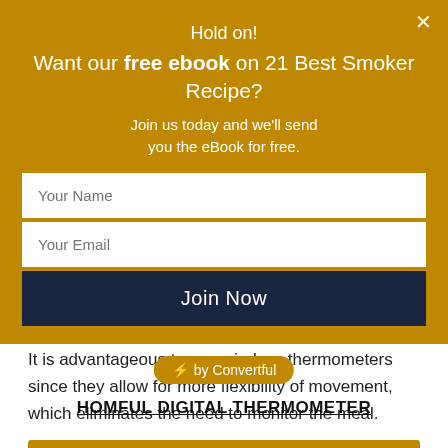Hold on! Want our free ebook on 21 Best Smoker Recipe?
Join us today and we'll send you the eBook for free.
Your Name
Your Email
Join Now
⚡ by Convertful
It is advantageous to use wireless thermometers since they allow for more flexibility of movement, which eliminates the need to monitor the meal.
HOMFUL DIGITAL THERMOMETER